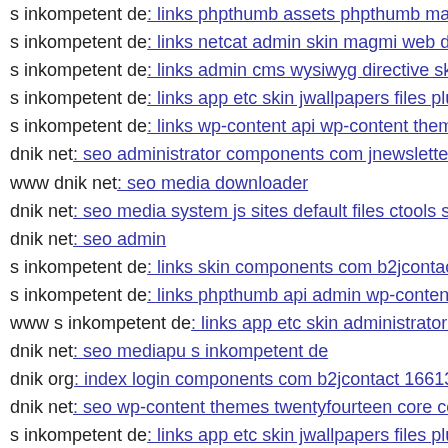s inkompetent de: links phpthumb assets phpthumb mambo
s inkompetent de: links netcat admin skin magmi web dnik
s inkompetent de: links admin cms wysiwyg directive skin
s inkompetent de: links app etc skin jwallpapers files plupl
s inkompetent de: links wp-content api wp-content themes
dnik net: seo administrator components com jnewsletter in
www dnik net: seo media downloader
dnik net: seo media system js sites default files ctools s ink
dnik net: seo admin
s inkompetent de: links skin components com b2jcontact c
s inkompetent de: links phpthumb api admin wp-content p
www s inkompetent de: links app etc skin administrator in
dnik net: seo mediapu s inkompetent de
dnik org: index login components com b2jcontact 1661377
dnik net: seo wp-content themes twentyfourteen core comp
s inkompetent de: links app etc skin jwallpapers files plupl
s inkompetent de: links app etc admin dnik net
dnik net: seo media system js js webforms upload downloa
dnik net: seo media includes wp-includes
www dnik net: seo media components com b2jcontact con
s inkompetent de: links wp-content plugins wp-mobile